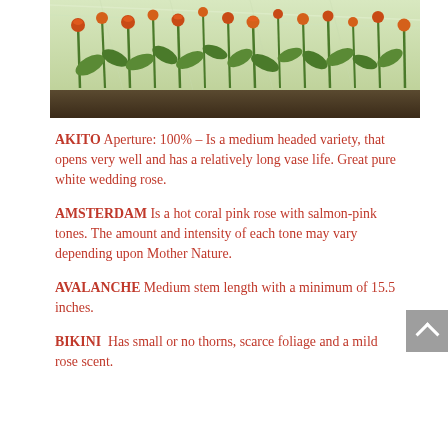[Figure (photo): Greenhouse with orange/red roses growing on tall stems with green foliage, taken from a low angle showing rows of rose plants extending into the background under a glass greenhouse structure.]
AKITO Aperture: 100% – Is a medium headed variety, that opens very well and has a relatively long vase life. Great pure white wedding rose.
AMSTERDAM Is a hot coral pink rose with salmon-pink tones. The amount and intensity of each tone may vary depending upon Mother Nature.
AVALANCHE Medium stem length with a minimum of 15.5 inches.
BIKINI  Has small or no thorns, scarce foliage and a mild rose scent.